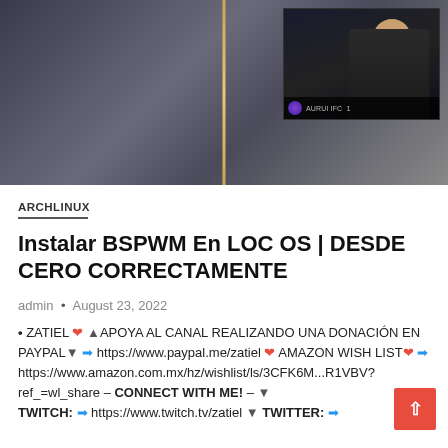[Figure (screenshot): Hero screenshot showing a dark themed desktop environment with a vertical golden line dividing the screen. A picture-in-picture overlay in the top-right shows a person (streamer) sitting at a computer with monitors. A status bar at the bottom of the pip shows icons and text.]
ARCHLINUX
Instalar BSPWM En LOC OS | DESDE CERO CORRECTAMENTE
admin • August 23, 2022
• ZATIEL ❤️ 🔺APOYA AL CANAL REALIZANDO UNA DONACIÓN EN PAYPAL🔽 ➡ https://www.paypal.me/zatiel ❤️ AMAZON WISH LIST❤️ ➡ https://www.amazon.com.mx/hz/wishlist/ls/3CFK6M...R1VBV?ref_=wl_share – CONNECT WITH ME! – 🔽 TWITCH: ➡ https://www.twitch.tv/zatiel 🔽 TWITTER: ➡